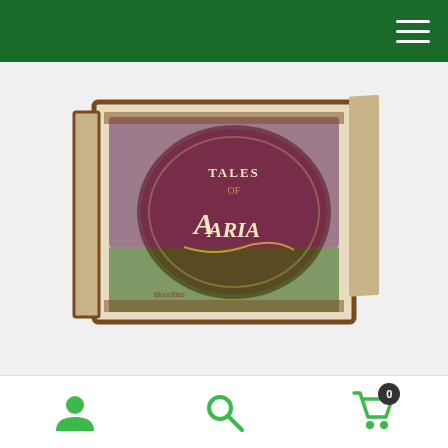Navigation bar with hamburger menu
[Figure (photo): Product box for Flesh & Blood: Tales of Aria Booster Box set, showing a decoratively illustrated box with 'Tales of Aria' text in an ornate oval design with fantasy art]
Flesh & Blood: Tales of Aria Booster Box Unlimited...
Free shipping on all orders over $200
Dismiss
Bottom navigation bar with user account, search, and shopping cart (0 items) icons